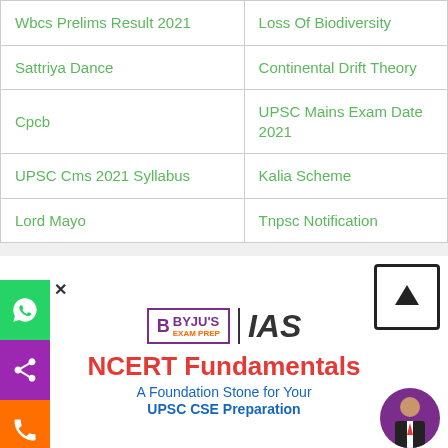| Wbcs Prelims Result 2021 | Loss Of Biodiversity |
| Sattriya Dance | Continental Drift Theory |
| Cpcb | UPSC Mains Exam Date 2021 |
| UPSC Cms 2021 Syllabus | Kalia Scheme |
| Lord Mayo | Tnpsc Notification |
[Figure (logo): BYJU'S EXAM PREP IAS logo with NCERT Fundamentals text: A Foundation Stone for Your UPSC CSE Preparation]